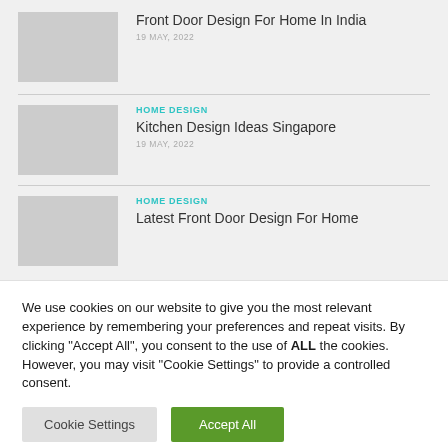Front Door Design For Home In India
19 MAY, 2022
HOME DESIGN
Kitchen Design Ideas Singapore
19 MAY, 2022
HOME DESIGN
Latest Front Door Design For Home
We use cookies on our website to give you the most relevant experience by remembering your preferences and repeat visits. By clicking “Accept All”, you consent to the use of ALL the cookies. However, you may visit “Cookie Settings” to provide a controlled consent.